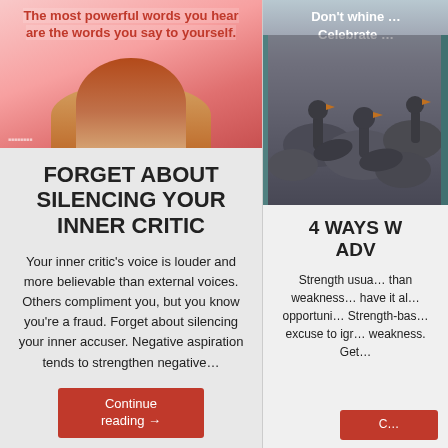[Figure (photo): Woman with red/orange beret seen from behind, with motivational text overlay on pink background: 'The most powerful words you hear are the words you say to yourself.']
FORGET ABOUT SILENCING YOUR INNER CRITIC
Your inner critic's voice is louder and more believable than external voices. Others compliment you, but you know you're a fraud. Forget about silencing your inner accuser. Negative aspiration tends to strengthen negative...
Continue reading →
[Figure (photo): Birds (geese/ducks) grouped together, with motivational text overlay: 'Don't whine ... Celebrate ...']
4 WAYS W... ADV...
Strength usua... than weakness... have it al... opportuni... Strength-bas... excuse to igr... weakness. Get...
Continue reading →